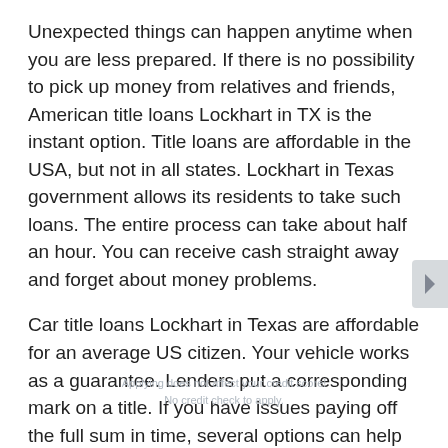Unexpected things can happen anytime when you are less prepared. If there is no possibility to pick up money from relatives and friends, American title loans Lockhart in TX is the instant option. Title loans are affordable in the USA, but not in all states. Lockhart in Texas government allows its residents to take such loans. The entire process can take about half an hour. You can receive cash straight away and forget about money problems.
Car title loans Lockhart in Texas are affordable for an average US citizen. Your vehicle works as a guarantee. Lenders put a corresponding mark on a title. If you have issues paying off the full sum in time, several options can help resolve the case. We will discuss these options a bit later. What one needs to know about Lockhart title loans is that they are legal and quick. If you have a case that requires a financial solution, fast car loans can lend a hand. Here is how they work in real life.